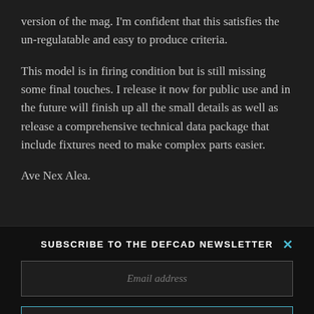version of the mag. I'm confident that this satisfies the un-regulatable and easy to produce criteria.
This model is in firing condition but is still missing some final touches. I release it now for public use and in the future will finish up all the small details as well as release a comprehensive technical data package that include fixtures need to make complex parts easier.
Ave Nex Alea.
SUBSCRIBE TO THE DEFCAD NEWSLETTER
Email address
SUBSCRIBE